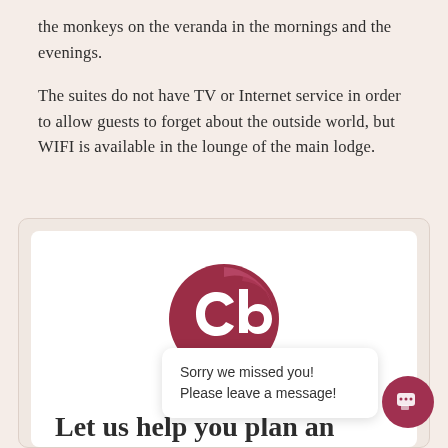the monkeys on the veranda in the mornings and the evenings.
The suites do not have TV or Internet service in order to allow guests to forget about the outside world, but WIFI is available in the lounge of the main lodge.
[Figure (logo): Circular logo with a dark crimson/maroon background and a stylized 'cb' lettering in white, with a lighter crescent-shaped highlight at the top.]
Let us help you plan an amazing t... kids!
Sorry we missed you! Please leave a message!